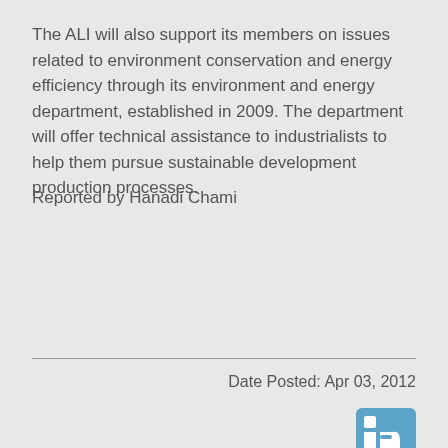The ALI will also support its members on issues related to environment conservation and energy efficiency through its environment and energy department, established in 2009. The department will offer technical assistance to industrialists to help them pursue sustainable development production processes.
Reported by Hanadi Chami
Date Posted: Apr 03, 2012